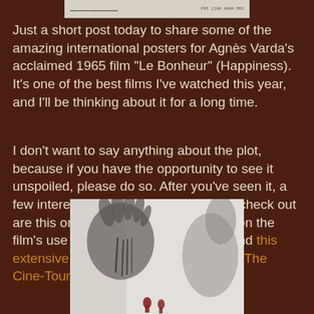[Figure (photo): Top portion of a film poster or image, partially cropped, showing text elements on a light background]
Just a short post today to share some of the amazing international posters for Agnès Varda's acclaimed 1965 film "Le Bonheur" (Happiness). It's one of the best films I've watched this year, and I'll be thinking about it for a long time.
I don't want to say anything about the plot, because if you have the opportunity to see it unspoiled, please do so. After you've seen it, a few interesting links you might wish to check out are this one by Abby Monteil, this one on the film's use of music by Adam Scovell, and this extensive, insight-filled photo essay on The Cine-Tourist.
[Figure (photo): Film poster for Le Bonheur showing blurred/double-exposed hands in black and white with small red figure below]